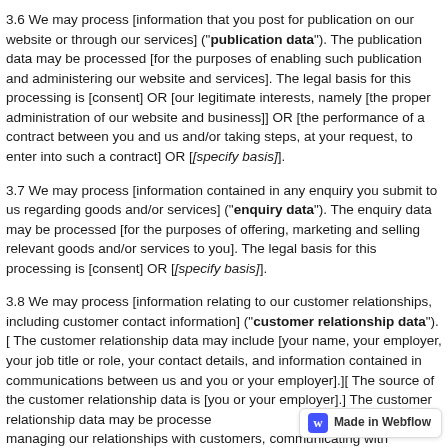3.6 We may process [information that you post for publication on our website or through our services] ("publication data"). The publication data may be processed [for the purposes of enabling such publication and administering our website and services]. The legal basis for this processing is [consent] OR [our legitimate interests, namely [the proper administration of our website and business]] OR [the performance of a contract between you and us and/or taking steps, at your request, to enter into such a contract] OR [[specify basis]].
3.7 We may process [information contained in any enquiry you submit to us regarding goods and/or services] ("enquiry data"). The enquiry data may be processed [for the purposes of offering, marketing and selling relevant goods and/or services to you]. The legal basis for this processing is [consent] OR [[specify basis]].
3.8 We may process [information relating to our customer relationships, including customer contact information] ("customer relationship data").[ The customer relationship data may include [your name, your employer, your job title or role, your contact details, and information contained in communications between us and you or your employer].][ The source of the customer relationship data is [you or your employer].] The customer relationship data may be processed [for managing our relationships with customers, communicating with